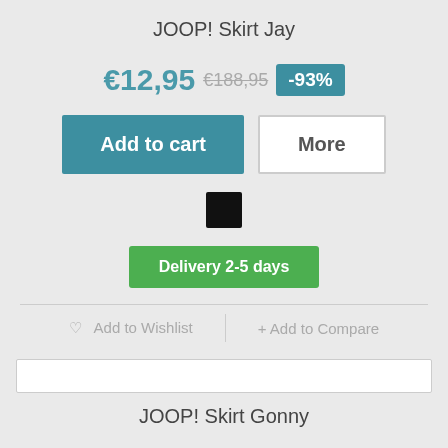JOOP! Skirt Jay
€12,95  €188,95  -93%
Add to cart  |  More
[Figure (other): Black color swatch square]
Delivery 2-5 days
♡ Add to Wishlist  |  + Add to Compare
Search bar (empty input field)
JOOP! Skirt Gonny
€12,95  €188,95  -93%